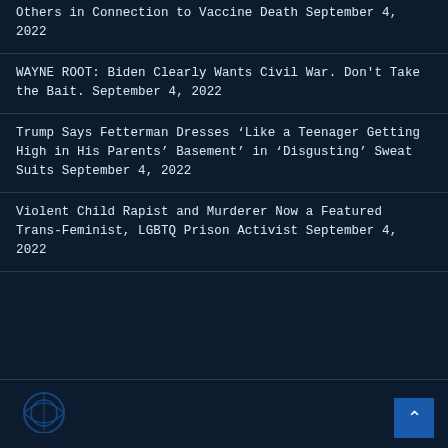Others in Connection to Vaccine Death September 4, 2022
WAYNE ROOT: Biden Clearly Wants Civil War. Don’t Take the Bait. September 4, 2022
Trump Says Fetterman Dresses ‘Like a Teenager Getting High in His Parents’ Basement’ in ‘Disgusting’ Sweat Suits September 4, 2022
Violent Child Rapist and Murderer Now a Featured Trans-Feminist, LGBTQ Prison Activist September 4, 2022